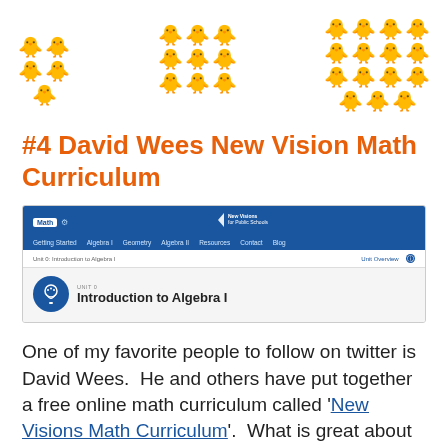[Figure (illustration): Three groups of rubber duck emoji arranged in columns: left group has 5 ducks in an irregular arrangement, middle group has 9 ducks in a 3x3-like grid, right group has 15+ ducks in a larger grid arrangement.]
#4 David Wees New Vision Math Curriculum
[Figure (screenshot): Screenshot of New Visions for Public Schools math website showing navigation bar with blue header, links (Getting Started, Algebra I, Geometry, Algebra II, Resources, Contact, Blog), a breadcrumb showing 'Unit 0: Introduction to Algebra I' and 'Unit Overview', and a unit page header for 'Introduction to Algebra I' with a blue brain icon.]
One of my favorite people to follow on twitter is David Wees.  He and others have put together a free online math curriculum called 'New Visions Math Curriculum'.  What is great about this curricula is that is full of resources for